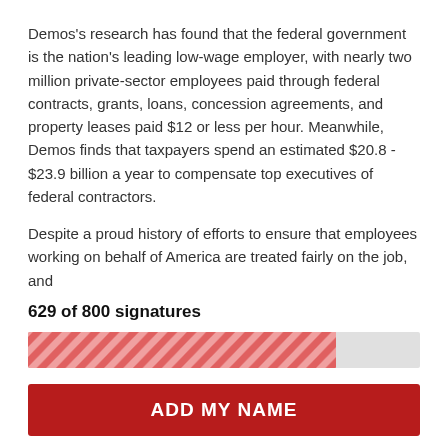Demos's research has found that the federal government is the nation's leading low-wage employer, with nearly two million private-sector employees paid through federal contracts, grants, loans, concession agreements, and property leases paid $12 or less per hour. Meanwhile, Demos finds that taxpayers spend an estimated $20.8 - $23.9 billion a year to compensate top executives of federal contractors.
Despite a proud history of efforts to ensure that employees working on behalf of America are treated fairly on the job, and
629 of 800 signatures
[Figure (other): Progress bar showing 629 of 800 signatures collected, approximately 78.6% filled with a red diagonal stripe pattern on a light gray background]
ADD MY NAME